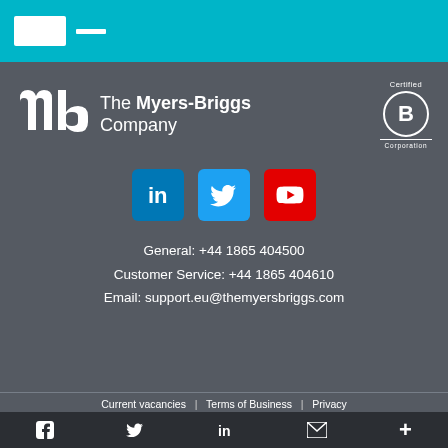[Figure (logo): Teal header bar with white Myers-Briggs logo placeholder box and white dash]
[Figure (logo): The Myers-Briggs Company logo — stylized 'mb' mark in white and company name in white text, plus Certified B Corporation badge]
[Figure (infographic): Social media icons: LinkedIn (blue), Twitter (light blue), YouTube (red)]
General: +44 1865 404500
Customer Service: +44 1865 404610
Email: support.eu@themyersbriggs.com
Current vacancies | Terms of Business | Privacy | Legal notices
© The Myers-Briggs Company
[Figure (infographic): Dark bottom navigation bar with Facebook, Twitter, LinkedIn, email, and plus icons]